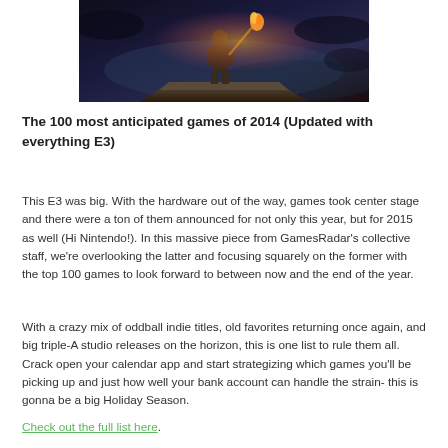[Figure (photo): A warrior/character holding a flaming weapon, standing on a rocky surface against a dark dramatic sky — video game promotional image]
The 100 most anticipated games of 2014 (Updated with everything E3)
This E3 was big. With the hardware out of the way, games took center stage and there were a ton of them announced for not only this year, but for 2015 as well (Hi Nintendo!). In this massive piece from GamesRadar's collective staff, we're overlooking the latter and focusing squarely on the former with the top 100 games to look forward to between now and the end of the year.
With a crazy mix of oddball indie titles, old favorites returning once again, and big triple-A studio releases on the horizon, this is one list to rule them all. Crack open your calendar app and start strategizing which games you'll be picking up and just how well your bank account can handle the strain- this is gonna be a big Holiday Season.
Check out the full list here.